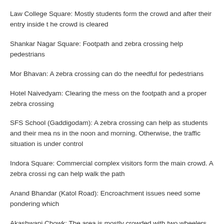Law College Square: Mostly students form the crowd and after their entry inside the crowd is cleared
Shankar Nagar Square: Footpath and zebra crossing help pedestrians
Mor Bhavan: A zebra crossing can do the needful for pedestrians
Hotel Naivedyam: Clearing the mess on the footpath and a proper zebra crossing
SFS School (Gaddigodam): A zebra crossing can help as students and their means in the noon and morning. Otherwise, the traffic situation is under control
Indora Square: Commercial complex visitors form the main crowd. A zebra crossing can help walk the path
Anand Bhandar (Katol Road): Encroachment issues need some pondering which
Akashwani Chowk: The area is mostly crowded with two wheelers and four wheelers and no pedestrians walking there. Hence there is no need of FOB
Chhatrapati Square Bus Stand: There is no need for FOB as a simple zebra crossing can help pedestrians to walk